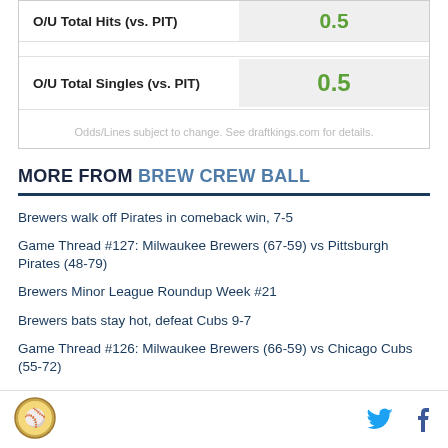|  | Value |
| --- | --- |
| O/U Total Hits (vs. PIT) | 0.5 |
| O/U Total Singles (vs. PIT) | 0.5 |
Odds/Lines subject to change. See draftkings.com for details.
MORE FROM BREW CREW BALL
Brewers walk off Pirates in comeback win, 7-5
Game Thread #127: Milwaukee Brewers (67-59) vs Pittsburgh Pirates (48-79)
Brewers Minor League Roundup Week #21
Brewers bats stay hot, defeat Cubs 9-7
Game Thread #126: Milwaukee Brewers (66-59) vs Chicago Cubs (55-72)
Logo | Twitter | Facebook